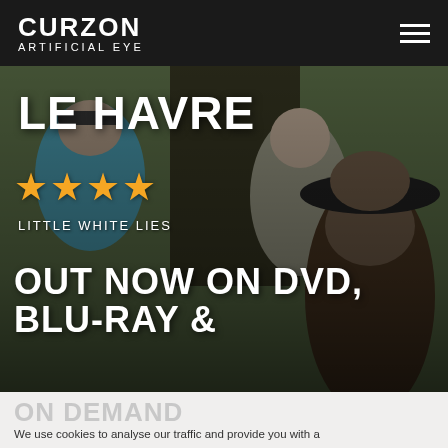CURZON ARTIFICIAL EYE
[Figure (photo): Film still from Le Havre showing three men in a dimly lit scene, one wearing a dark hat in the foreground]
LE HAVRE
★★★★ LITTLE WHITE LIES
OUT NOW ON DVD, BLU-RAY &
ON DEMAND
We use cookies to analyse our traffic and provide you with a